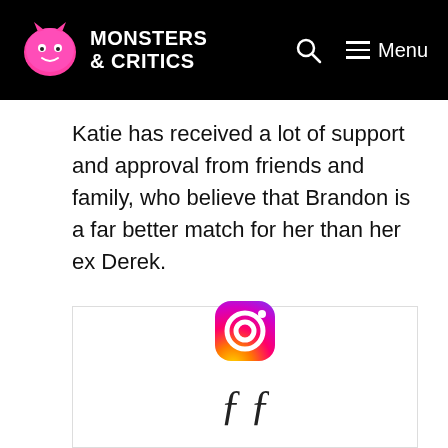MONSTERS & CRITICS
Katie has received a lot of support and approval from friends and family, who believe that Brandon is a far better match for her than her ex Derek.
[Figure (screenshot): Embedded Instagram post with Instagram logo icon and partial cursive text at the bottom]